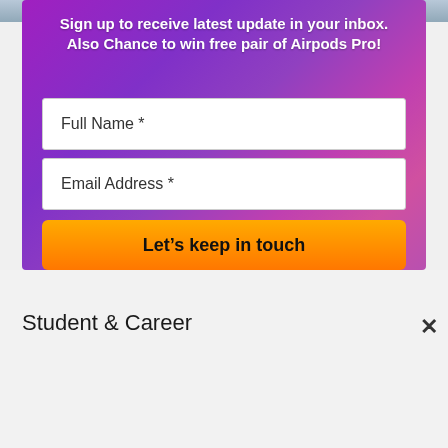[Figure (screenshot): Cropped top of an image showing Airpods Pro product shot]
Sign up to receive latest update in your inbox. Also Chance to win free pair of Airpods Pro!
Full Name *
Email Address *
Let’s keep in touch
Student & Career